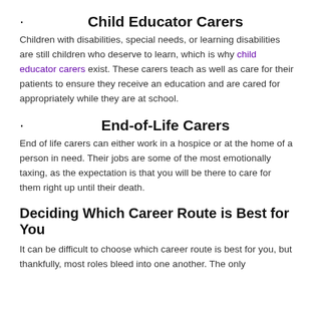· Child Educator Carers
Children with disabilities, special needs, or learning disabilities are still children who deserve to learn, which is why child educator carers exist. These carers teach as well as care for their patients to ensure they receive an education and are cared for appropriately while they are at school.
· End-of-Life Carers
End of life carers can either work in a hospice or at the home of a person in need. Their jobs are some of the most emotionally taxing, as the expectation is that you will be there to care for them right up until their death.
Deciding Which Career Route is Best for You
It can be difficult to choose which career route is best for you, but thankfully, most roles bleed into one another. The only